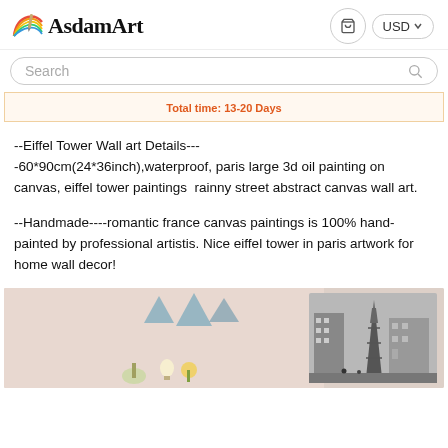AsdamArt
Search
Total time: 13-20 Days
--Eiffel Tower Wall art Details---
-60*90cm(24*36inch),waterproof, paris large 3d oil painting on canvas, eiffel tower paintings  rainny street abstract canvas wall art.
--Handmade----romantic france canvas paintings is 100% hand-painted by professional artistis. Nice eiffel tower in paris artwork for home wall decor!
[Figure (photo): Room scene showing Eiffel Tower wall art canvas painting hung on a wall with decorative elements including triangle pendants and a plant.]